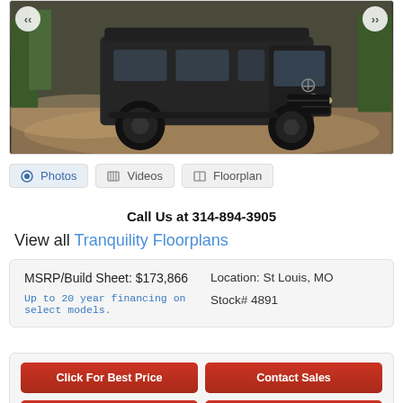[Figure (photo): Dark-colored Mercedes-Benz Sprinter van driving on a dusty off-road trail with vegetation in background. Navigation arrows on left and right sides.]
Photos   Videos   Floorplan
Call Us at 314-894-3905
View all Tranquility Floorplans
| MSRP/Build Sheet: $173,866 | Location: St Louis, MO |
| Up to 20 year financing on select models. | Stock# 4891 |
Click For Best Price
Contact Sales
Make Offer
Request Info